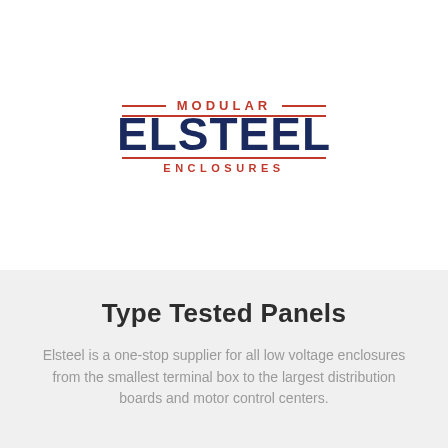[Figure (logo): Modular Elsteel Enclosures logo — dark navy blue bold lettering 'ELSTEEL' with red text 'MODULAR' above and 'ENCLOSURES' below, flanked by red horizontal lines]
Type Tested Panels
Elsteel is a one-stop supplier for all low voltage enclosures from the smallest terminal box to the largest distribution boards and motor control centers.